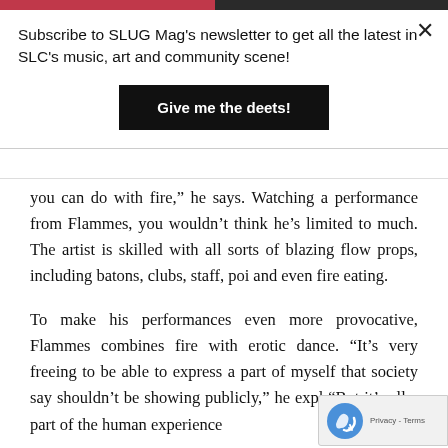Subscribe to SLUG Mag's newsletter to get all the latest in SLC's music, art and community scene!
Give me the deets!
you can do with fire,” he says. Watching a performance from Flammes, you wouldn’t think he’s limited to much. The artist is skilled with all sorts of blazing flow props, including batons, clubs, staff, poi and even fire eating.
To make his performances even more provocative, Flammes combines fire with erotic dance. “It’s very freeing to be able to express a part of myself that society say shouldn’t be showing publicly,” he expl “But it’s all a part of the human experience